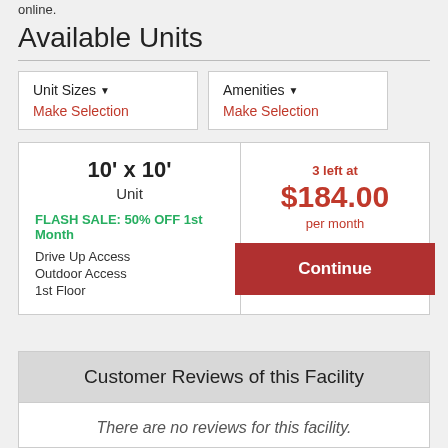online.
Available Units
| Unit Sizes | Amenities |
| --- | --- |
| Make Selection | Make Selection |
| 10' x 10' | 3 left at $184.00 per month |
| Unit | Continue |
| FLASH SALE: 50% OFF 1st Month |  |
| Drive Up Access |  |
| Outdoor Access |  |
| 1st Floor |  |
Customer Reviews of this Facility
There are no reviews for this facility.